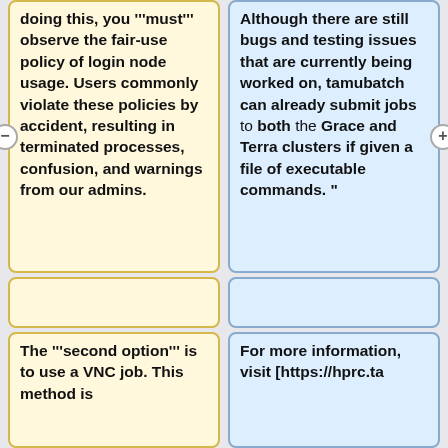doing this, you '''must''' observe the fair-use policy of login node usage. Users commonly violate these policies by accident, resulting in terminated processes, confusion, and warnings from our admins.
Although there are still bugs and testing issues that are currently being worked on, tamubatch can already submit jobs to both the Grace and Terra clusters if given a file of executable commands. "
The '''second option''' is to use a VNC job. This method is
For more information, visit [https://hprc.ta